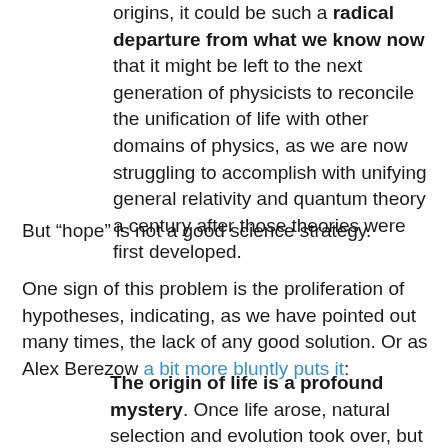origins, it could be such a radical departure from what we know now that it might be left to the next generation of physicists to reconcile the unification of life with other domains of physics, as we are now struggling to accomplish with unifying general relativity and quantum theory a century after those theories were first developed.
But “hope” is not a good science strategy.
One sign of this problem is the proliferation of hypotheses, indicating, as we have pointed out many times, the lack of any good solution. Or as Alex Berezow a bit more bluntly puts it:
The origin of life is a profound mystery. Once life arose, natural selection and evolution took over, but the question of how a mixture of various gases created life-giving molecules that arranged into structures capable of reproducing themselves remains unanswered. Many